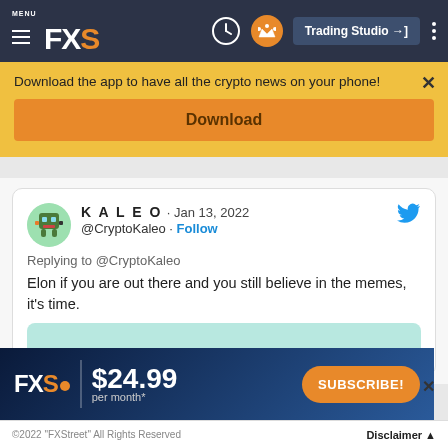MENU FXS | Trading Studio
Download the app to have all the crypto news on your phone!
Download
KALEO · Jan 13, 2022 @CryptoKaleo · Follow
Replying to @CryptoKaleo
Elon if you are out there and you still believe in the memes, it's time.
[Figure (screenshot): FXS Premium ad banner: FXS logo, $24.99 per month*, SUBSCRIBE! button]
©2022 "FXStreet" All Rights Reserved  Disclaimer ▲